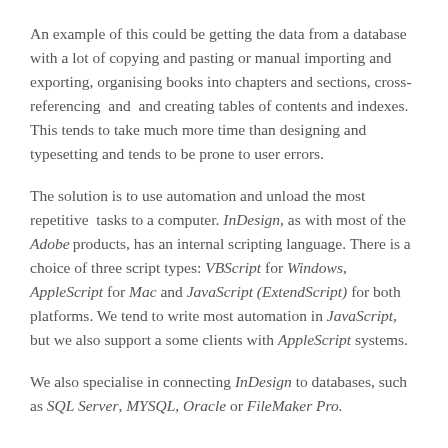An example of this could be getting the data from a database with a lot of copying and pasting or manual importing and exporting, organising books into chapters and sections, cross-referencing  and  and creating tables of contents and indexes. This tends to take much more time than designing and typesetting and tends to be prone to user errors.
The solution is to use automation and unload the most repetitive  tasks to a computer. InDesign, as with most of the Adobe products, has an internal scripting language. There is a choice of three script types: VBScript for Windows, AppleScript for Mac and JavaScript (ExtendScript) for both platforms. We tend to write most automation in JavaScript, but we also support a some clients with AppleScript systems.
We also specialise in connecting InDesign to databases, such as SQL Server, MYSQL, Oracle or FileMaker Pro.